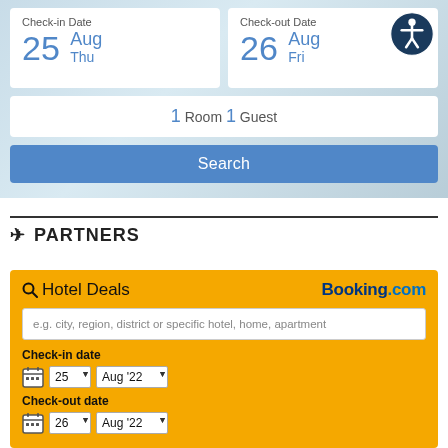[Figure (screenshot): Hotel booking widget with check-in date 25 Aug Thu and check-out date 26 Aug Fri, 1 Room 1 Guest, and a Search button on a blue/grey background]
✈ PARTNERS
[Figure (screenshot): Booking.com Hotel Deals widget with search input, check-in date dropdowns (25, Aug '22), check-out date dropdowns (26, Aug '22)]